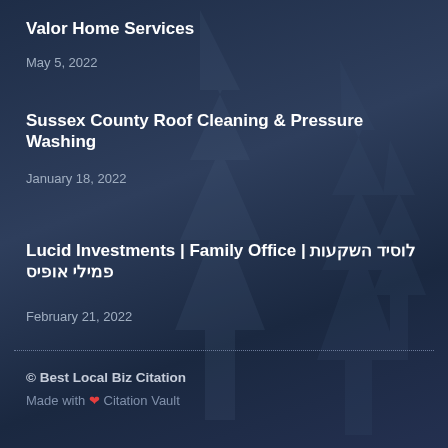Valor Home Services
May 5, 2022
Sussex County Roof Cleaning & Pressure Washing
January 18, 2022
Lucid Investments | Family Office | לוסיד השקעות פמילי אופיס
February 21, 2022
© Best Local Biz Citation
Made with ❤ Citation Vault